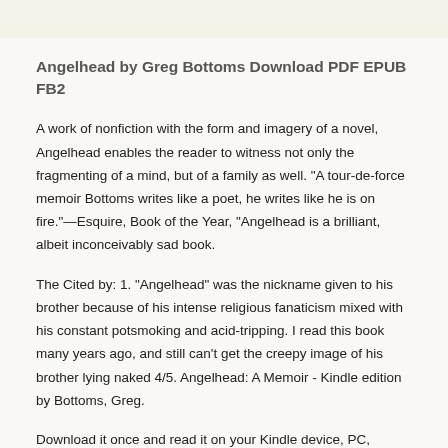Angelhead by Greg Bottoms Download PDF EPUB FB2
A work of nonfiction with the form and imagery of a novel, Angelhead enables the reader to witness not only the fragmenting of a mind, but of a family as well. "A tour-de-force memoir Bottoms writes like a poet, he writes like he is on fire."—Esquire, Book of the Year, "Angelhead is a brilliant, albeit inconceivably sad book.
The Cited by: 1. "Angelhead" was the nickname given to his brother because of his intense religious fanaticism mixed with his constant potsmoking and acid-tripping. I read this book many years ago, and still can't get the creepy image of his brother lying naked 4/5. Angelhead: A Memoir - Kindle edition by Bottoms, Greg.
Download it once and read it on your Kindle device, PC, phones or tablets. Use features like bookmarks, note taking and highlighting while reading Angelhead: A Memoir/5(45). Angelhead: My Brother's Descent Into Madness Greg Bottoms. Author Crown Publishers $20